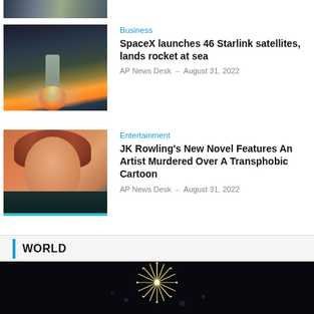[Figure (photo): Partial top image of what appears to be a news article thumbnail, cropped at top]
Business
SpaceX launches 46 Starlink satellites, lands rocket at sea
AP News Desk – August 31, 2022
[Figure (photo): Photo of a SpaceX rocket launch with fire and smoke]
Entertainment
JK Rowling's New Novel Features An Artist Murdered Over A Transphobic Cartoon
AP News Desk – August 31, 2022
[Figure (photo): Photo of JK Rowling at a red carpet event, wearing dark clothing with teal/green highlights]
WORLD
[Figure (photo): Dark photo of fireworks in a night sky]